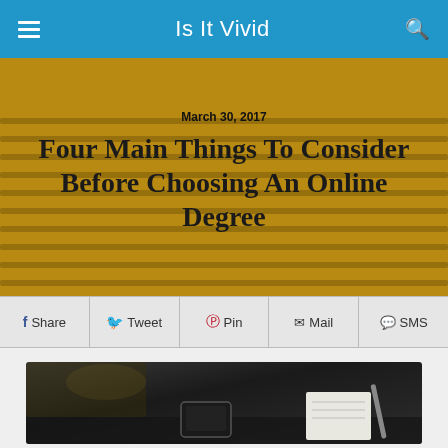Is It Vivid
March 30, 2017
Four Main Things To Consider Before Choosing An Online Degree
Share  Tweet  Pin  Mail  SMS
[Figure (photo): Black and white photo of a desk with a laptop, smartphone, notebook and pen]